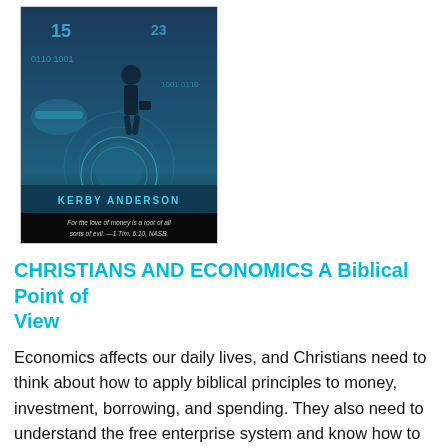[Figure (photo): Book cover of 'Christians and Economics: A Biblical Point of View' by Kerby Anderson. Blue-toned image showing a businessman walking with a briefcase, handshake imagery, and financial graphics. Bottom section has black background with text: 'For the love of money is a root of all sorts of evil. —1 Tim. 6:10, NASB.']
CHRISTIANS AND ECONOMICS A Biblical Point of View
Economics affects our daily lives, and Christians need to think about how to apply biblical principles to money, investment, borrowing, and spending. They also need to understand the free enterprise system and know how to defend capitalism. Chapters in this book not only look at broad economic principles, but a section of the